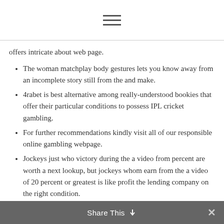≡
offers intricate about web page.
The woman matchplay body gestures lets you know away from an incomplete story still from the and make.
4rabet is best alternative among really-understood bookies that offer their particular conditions to possess IPL cricket gambling.
For further recommendations kindly visit all of our responsible online gambling webpage.
Jockeys just who victory during the a video from percent are worth a next lookup, but jockeys whom earn from the a video of 20 percent or greatest is like profit the lending company on the right condition.
Share This ✕